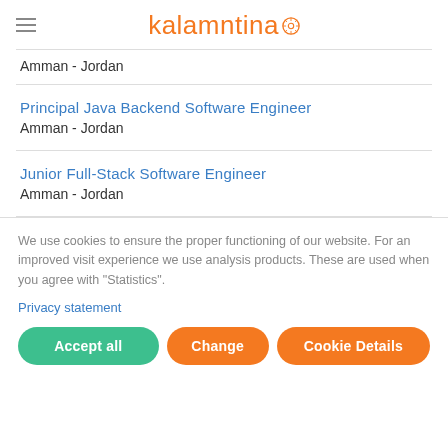kalamntina
Amman - Jordan
Principal Java Backend Software Engineer
Amman - Jordan
Junior Full-Stack Software Engineer
Amman - Jordan
We use cookies to ensure the proper functioning of our website. For an improved visit experience we use analysis products. These are used when you agree with "Statistics". Privacy statement